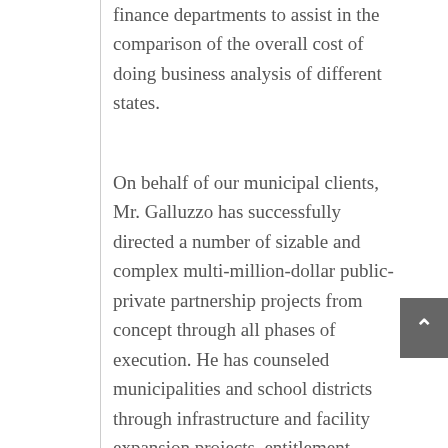finance departments to assist in the comparison of the overall cost of doing business analysis of different states.
On behalf of our municipal clients, Mr. Galluzzo has successfully directed a number of sizable and complex multi-million-dollar public-private partnership projects from concept through all phases of execution. He has counseled municipalities and school districts through infrastructure and facility expansion projects, entitlement issues, and the identification, negotiation, and implementation of various economic development tools, and federal grants to directly